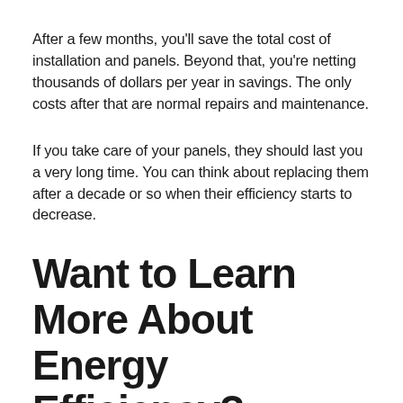After a few months, you'll save the total cost of installation and panels. Beyond that, you're netting thousands of dollars per year in savings. The only costs after that are normal repairs and maintenance.
If you take care of your panels, they should last you a very long time. You can think about replacing them after a decade or so when their efficiency starts to decrease.
Want to Learn More About Energy Efficiency?
How does home solar power work? Your panels